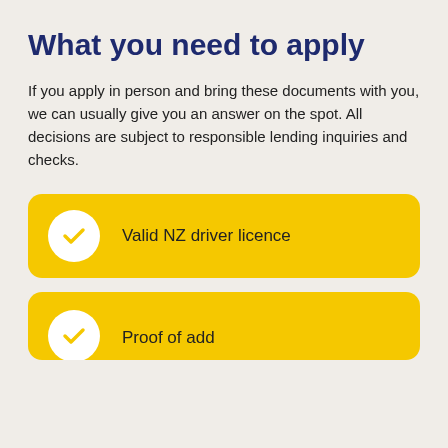What you need to apply
If you apply in person and bring these documents with you, we can usually give you an answer on the spot. All decisions are subject to responsible lending inquiries and checks.
Valid NZ driver licence
Proof of address